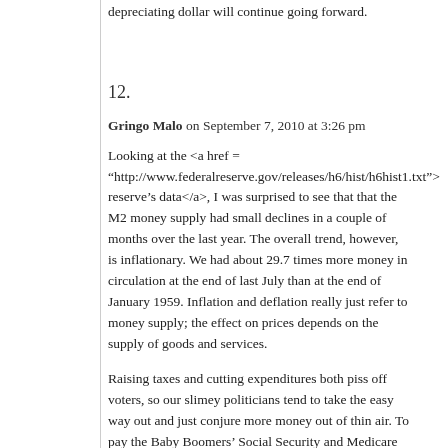depreciating dollar will continue going forward.
12.
Gringo Malo on September 7, 2010 at 3:26 pm
Looking at the <a href = “http://www.federalreserve.gov/releases/h6/hist/h6hist1.txt”>federal reserve’s data</a>, I was surprised to see that that the M2 money supply had small declines in a couple of months over the last year. The overall trend, however, is inflationary. We had about 29.7 times more money in circulation at the end of last July than at the end of January 1959. Inflation and deflation really just refer to money supply; the effect on prices depends on the supply of goods and services.
Raising taxes and cutting expenditures both piss off voters, so our slimey politicians tend to take the easy way out and just conjure more money out of thin air. To pay the Baby Boomers’ Social Security and Medicare